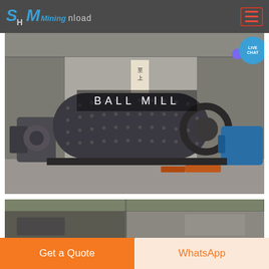SHM Mining
[Figure (photo): Large industrial ball mill machine in a factory/warehouse setting. The ball mill is a large dark cylindrical drum with bolts/balls on the surface, mounted with a motor on the left and a large gear/sprocket on the right side, with a blue machine visible on the far right. Chinese characters visible on signage in background. Text overlay reads 'BALL MILL'.]
[Figure (photo): Partial view of another industrial machine or equipment in a warehouse setting, partially cropped at bottom of page.]
Get a Quote
WhatsApp